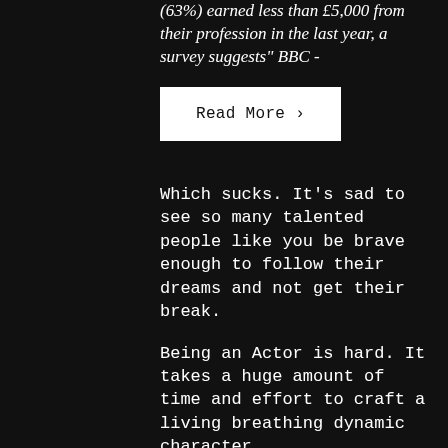(63%) earned less than £5,000 from their profession in the last year, a survey suggests" BBC -
[Figure (other): Read More button with right arrow]
Which sucks. It's sad to see so many talented people like you be brave enough to follow their dreams and not get their break.
Being an Actor is hard. It takes a huge amount of time and effort to craft a living breathing dynamic character.
But you can make the journey easier for yourself by getting your hands on a process you can trust and rely on. Be ready so you don't have to get ready.